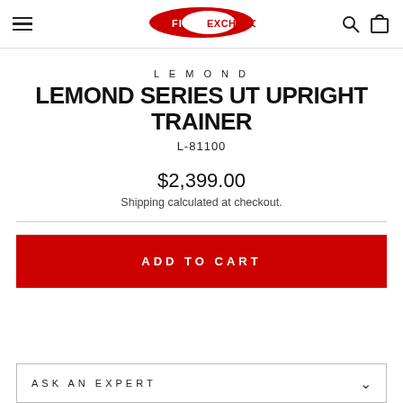[Figure (logo): Fitness Exchange logo — red oval with white text FITNESS EXCHANGE]
LEMOND
LEMOND SERIES UT UPRIGHT TRAINER
L-81100
$2,399.00
Shipping calculated at checkout.
ADD TO CART
ASK AN EXPERT